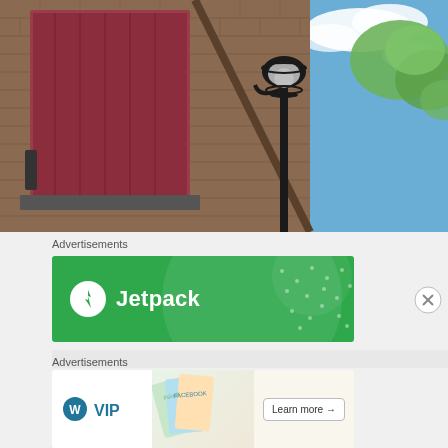[Figure (photo): Upward-angle photo of a brick building wall with a red wooden door/shutter, a decorative black street lamp, blue sky with white clouds, and green tree foliage visible on the right side.]
Advertisements
[Figure (other): Jetpack advertisement banner — green background with Jetpack logo (white circle with lightning bolt icon) and 'Jetpack' text in white, with decorative dot pattern and circular highlight.]
Advertisements
[Figure (other): WordPress VIP advertisement banner showing WordPress VIP logo on left, colorful card/book graphics in the center, and a 'Learn more →' button on the right.]